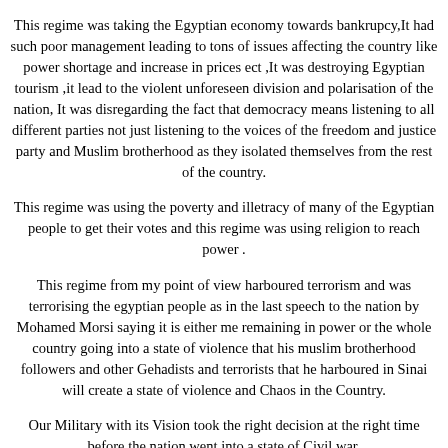This regime was taking the Egyptian economy towards bankrupcy,It had such poor management leading to tons of issues affecting the country like power shortage and increase in prices ect ,It was destroying Egyptian tourism ,it lead to the violent unforeseen division and polarisation of the nation, It was disregarding the fact that democracy means listening to all different parties not just listening to the voices of the freedom and justice party and Muslim brotherhood as they isolated themselves from the rest of the country. This regime was using the poverty and illetracy of many of the Egyptian people to get their votes and this regime was using religion to reach power . This regime from my point of view harboured terrorism and was terrorising the egyptian people as in the last speech to the nation by Mohamed Morsi saying it is either me remaining in power or the whole country going into a state of violence that his muslim brotherhood followers and other Gehadists and terrorists that he harboured in Sinai will create a state of violence and Chaos in the Country. Our Military with its Vision took the right decision at the right time before the nation went into a state of Civil war. I know for sure that our country will continue to honour all its agreements with our neibouring countries I hope that you appreciate that all Egyptians want is a regime